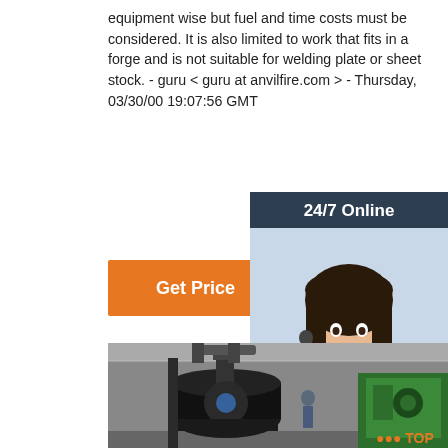equipment wise but fuel and time costs must be considered. It is also limited to work that fits in a forge and is not suitable for welding plate or sheet stock. - guru < guru at anvilfire.com > - Thursday, 03/30/00 19:07:56 GMT
[Figure (other): Orange 'Get Price' button]
[Figure (other): Sidebar with 24/7 Online label, customer service representative photo with headset, 'Click here for free chat!' text, and orange QUOTATION button on dark background]
[Figure (photo): Industrial forging hammer machinery in a factory setting, showing a large black steam/pneumatic hammer with vertical ram, and green machinery visible on the right side. Workers visible in background.]